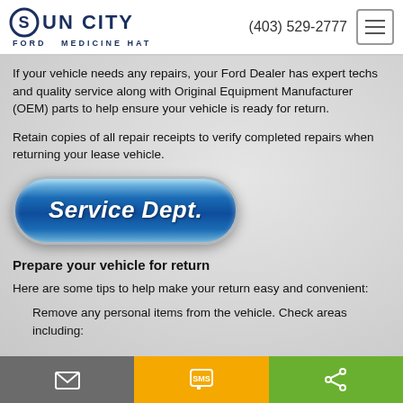Sun City Ford Medicine Hat | (403) 529-2777
If your vehicle needs any repairs, your Ford Dealer has expert techs and quality service along with Original Equipment Manufacturer (OEM) parts to help ensure your vehicle is ready for return.
Retain copies of all repair receipts to verify completed repairs when returning your lease vehicle.
[Figure (other): Blue pill-shaped button labeled 'Service Dept.']
Prepare your vehicle for return
Here are some tips to help make your return easy and convenient:
Remove any personal items from the vehicle. Check areas including:
Email | SMS | Share